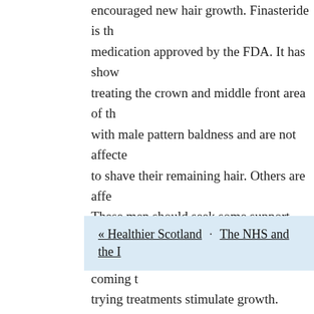encouraged new hair growth. Finasteride is the medication approved by the FDA. It has shown treating the crown and middle front area of the with male pattern baldness and are not affected to shave their remaining hair. Others are affec These men should seek some support before damaged. This may take the form of coming t trying treatments stimulate growth.
You can find out more about man hair loss at
Both comments and trackbacks are currently
« Healthier Scotland · The NHS and the I